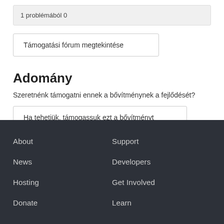1 problémából 0
Támogatási fórum megtekintése
Adomány
Szeretnénk támogatni ennek a bővítménynek a fejlődését?
Ha tehetjük, támogassuk ezt a bővítményt
About  News  Hosting  Donate  Support  Developers  Get Involved  Learn